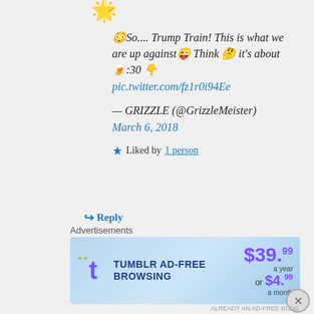[Figure (photo): Emoji/avatar icon at top left]
😳So.... Trump Train! This is what we are up against😜 Think 🤔 it's about 🍺:30 👇 pic.twitter.com/fz1r0i94Ee — GRIZZLE (@GrizzleMeister) March 6, 2018
Liked by 1 person
↪ Reply
Wooly Covfefe on March 6, 2018 at 10:08 pm
Advertisements
[Figure (screenshot): Tumblr Ad-Free Browsing advertisement banner: $39.99 a year or $4.99 a month]